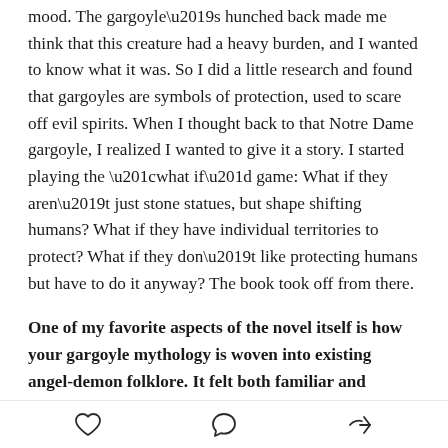mood. The gargoyle's hunched back made me think that this creature had a heavy burden, and I wanted to know what it was. So I did a little research and found that gargoyles are symbols of protection, used to scare off evil spirits. When I thought back to that Notre Dame gargoyle, I realized I wanted to give it a story. I started playing the “what if” game: What if they aren’t just stone statues, but shape shifting humans? What if they have individual territories to protect? What if they don’t like protecting humans but have to do it anyway? The book took off from there.
One of my favorite aspects of the novel itself is how your gargoyle mythology is woven into existing angel-demon folklore. It felt both familiar and unique at
[heart icon] [comment icon] [share icon]